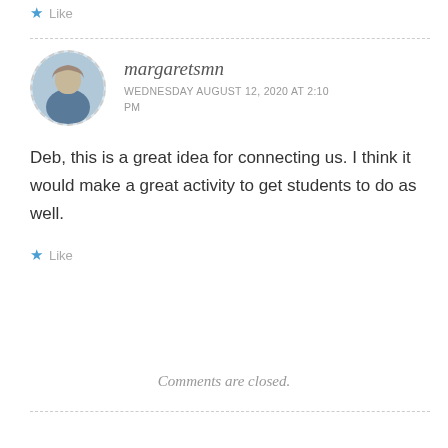Like
margaretsmn
WEDNESDAY AUGUST 12, 2020 AT 2:10 PM
Deb, this is a great idea for connecting us. I think it would make a great activity to get students to do as well.
Like
Comments are closed.